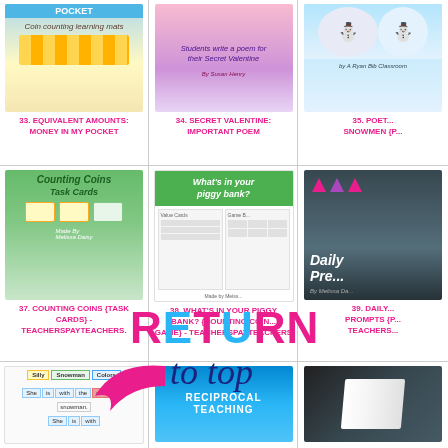[Figure (screenshot): Thumbnail for item 33: Equivalent Amounts - Money in My Pocket coin counting learning mats]
33. EQUIVALENT AMOUNTS: MONEY IN MY POCKET
[Figure (screenshot): Thumbnail for item 34: Secret Valentine - Important Poem writing activity]
34. SECRET VALENTINE: IMPORTANT POEM
[Figure (screenshot): Thumbnail for item 35: Poetry Snowmen (partially visible)]
35. POET... SNOWMEN {P...
[Figure (screenshot): Thumbnail for item 37: Counting Coins Task Cards by Melissa Daisy]
37. COUNTING COINS {TASK CARDS} - TeachersPayTeachers.
[Figure (screenshot): Thumbnail for item 38: What's in your piggy bank? Counting Coins game]
38. WHAT'S IN YOUR PIGGY BANK? {COUNTING COIN... GAME} - TeachersPayTeachers
[Figure (screenshot): Thumbnail for item 39: Daily Writing Prompts by Melissa Daisy]
39. DAILY... PROMPTS {P... Teachers...
[Figure (screenshot): Thumbnail for item 40: Silly Snowman Colors word card activity]
[Figure (screenshot): Thumbnail for item 41: Reciprocal Teaching]
[Figure (screenshot): Thumbnail for item 42: Partially visible dark book cover]
[Figure (illustration): RETURN to top overlay with pink arrow, bold colored letters spelling RETURN and cursive 'to top' in dark blue]